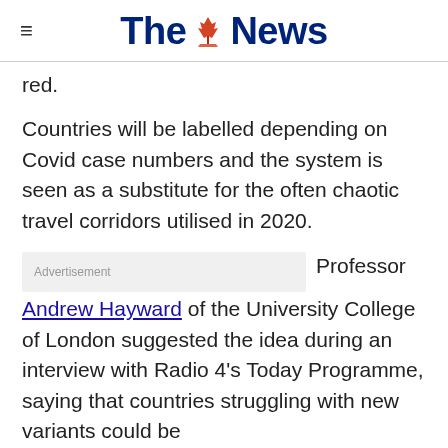The News
red.
Countries will be labelled depending on Covid case numbers and the system is seen as a substitute for the often chaotic travel corridors utilised in 2020.
Professor Andrew Hayward of the University College of London suggested the idea during an interview with Radio 4's Today Programme, saying that countries struggling with new variants could be